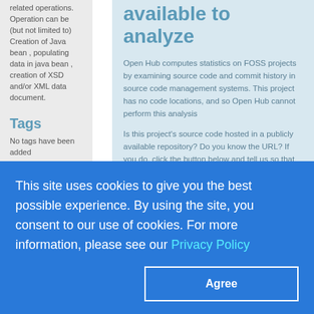related operations. Operation can be (but not limited to) Creation of Java bean , populating data in java bean , creation of XSD and/or XML data document.
Tags
No tags have been added
available to analyze
Open Hub computes statistics on FOSS projects by examining source code and commit history in source code management systems. This project has no code locations, and so Open Hub cannot perform this analysis
Is this project's source code hosted in a publicly available repository? Do you know the URL? If you do, click the button below and tell us so that Open Hub can generate statistics! It's fast and easy - try it and see!
Add a code location
This site uses cookies to give you the best possible experience. By using the site, you consent to our use of cookies. For more information, please see our Privacy Policy
Agree